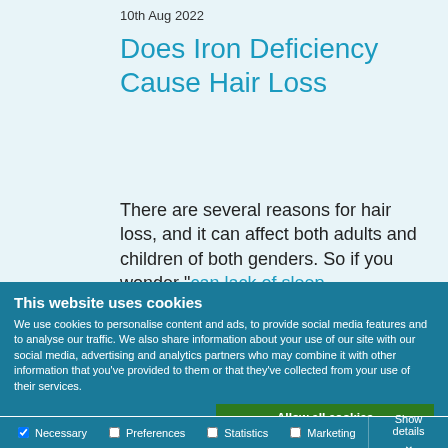10th Aug 2022
Does Iron Deficiency Cause Hair Loss
There are several reasons for hair loss, and it can affect both adults and children of both genders. So if you wonder “can lack of sleep
This website uses cookies
We use cookies to personalise content and ads, to provide social media features and to analyse our traffic. We also share information about your use of our site with our social media, advertising and analytics partners who may combine it with other information that you've provided to them or that they've collected from your use of their services.
Allow all cookies
Allow selection
Use necessary cookies only
Necessary  Preferences  Statistics  Marketing  Show details